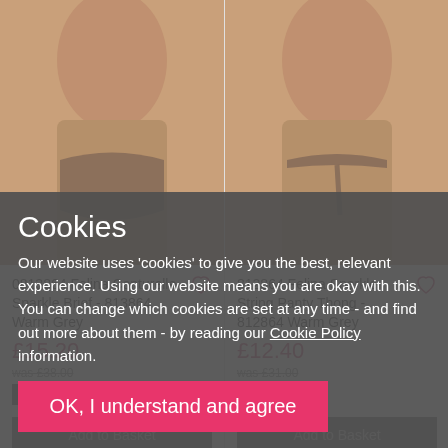[Figure (photo): Left product photo: model wearing taupe/warm grey brief panty, cropped at waist and upper thighs]
0813864 Felina Conturelle Sparkle Brief - 813864 Warm Grey
£15.20
was £38.00
USD $18.24
Add to Basket
[Figure (photo): Right product photo: model wearing taupe/warm grey thong panty, cropped at waist and upper thighs]
812864 Felina Sparkle String Panty Thong - 812864 Warm Grey
£12.40
was £31.00
USD $14.88
Add to Basket
60% off
Cookies
Our website uses 'cookies' to give you the best, relevant experience. Using our website means you are okay with this. You can change which cookies are set at any time - and find out more about them - by reading our Cookie Policy information.
OK, I understand and agree